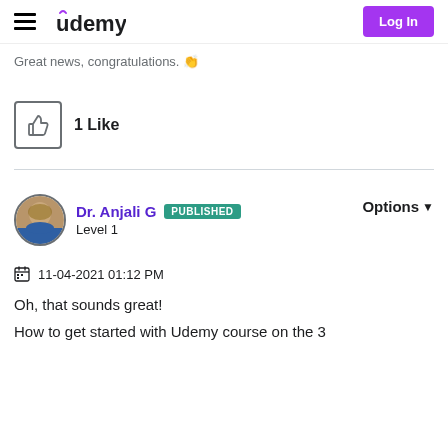Udemy | Log In
Great news, congratulations. 👏
1 Like
Dr. Anjali G PUBLISHED Level 1
Options ▼
11-04-2021 01:12 PM
Oh, that sounds great!
How to get started with Udemy course on the 3...